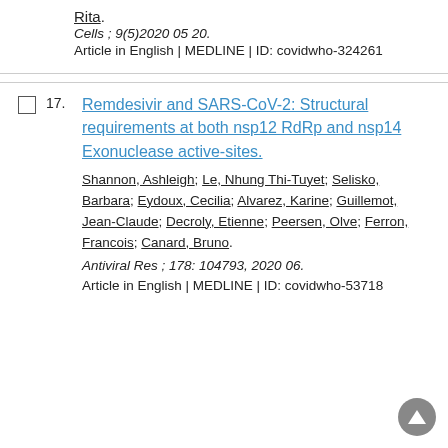Rita. Cells ; 9(5)2020 05 20. Article in English | MEDLINE | ID: covidwho-324261
17. Remdesivir and SARS-CoV-2: Structural requirements at both nsp12 RdRp and nsp14 Exonuclease active-sites. Shannon, Ashleigh; Le, Nhung Thi-Tuyet; Selisko, Barbara; Eydoux, Cecilia; Alvarez, Karine; Guillemot, Jean-Claude; Decroly, Etienne; Peersen, Olve; Ferron, Francois; Canard, Bruno. Antiviral Res ; 178: 104793, 2020 06. Article in English | MEDLINE | ID: covidwho-53718